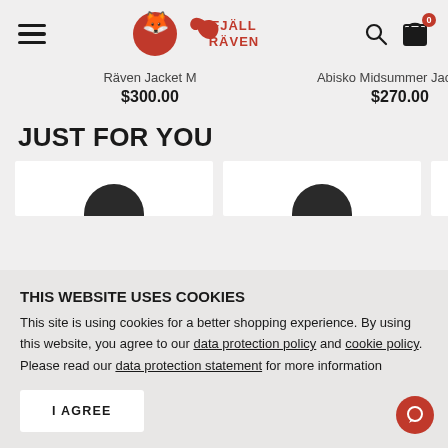[Figure (logo): Fjällräven logo with fox icon in red and brand name FJALL RAVEN in red text]
Räven Jacket M
$300.00
Abisko Midsummer Jacket M
$270.00
Hig
JUST FOR YOU
[Figure (screenshot): Partial product card thumbnails showing product images cropped at bottom]
THIS WEBSITE USES COOKIES
This site is using cookies for a better shopping experience. By using this website, you agree to our data protection policy and cookie policy. Please read our data protection statement for more information
I AGREE